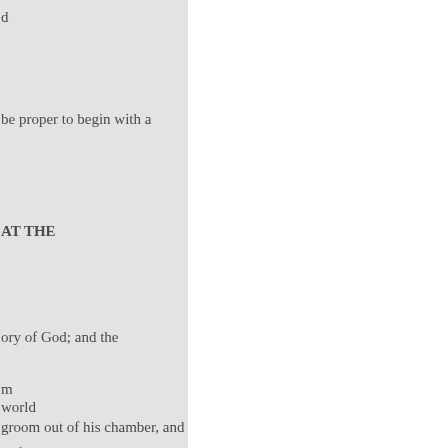d
be proper to begin with a
AT THE
ory of God; and the
m
world
groom out of his chamber, and
the end of it again; and there
of the LORD is sure, and
t of the LORD is pure, and